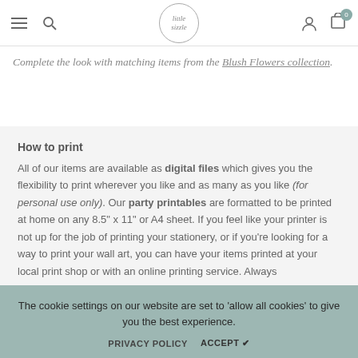Navigation bar with hamburger menu, search icon, little sizzle logo, account icon, and cart with 0 items
Complete the look with matching items from the Blush Flowers collection.
How to print
All of our items are available as digital files which gives you the flexibility to print wherever you like and as many as you like (for personal use only). Our party printables are formatted to be printed at home on any 8.5" x 11" or A4 sheet. If you feel like your printer is not up for the job of printing your stationery, or if you're looking for a way to print your wall art, you can have your items printed at your local print shop or with an online printing service. Always
The cookie settings on our website are set to 'allow all cookies' to give you the best experience.
PRIVACY POLICY  ACCEPT ✔